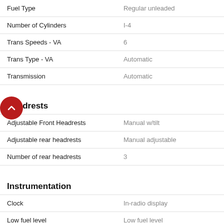| Feature | Value |
| --- | --- |
| Fuel Type | Regular unleaded |
| Number of Cylinders | I-4 |
| Trans Speeds - VA | 6 |
| Trans Type - VA | Automatic |
| Transmission | Automatic |
Headrests
| Feature | Value |
| --- | --- |
| Adjustable Front Headrests | Manual w/tilt |
| Adjustable rear headrests | Manual adjustable |
| Number of rear headrests | 3 |
Instrumentation
| Feature | Value |
| --- | --- |
| Clock | In-radio display |
| Low fuel level | Low fuel level |
| Tachometer | Tachometer |
| Trip computer | Trip computer |
Lights